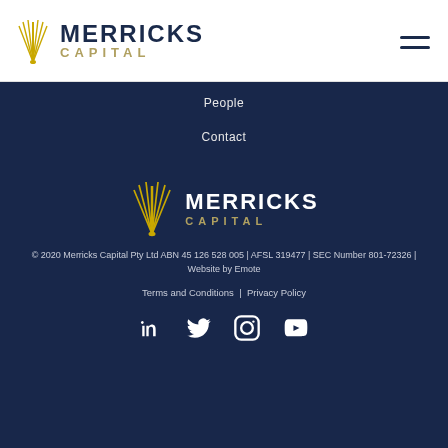[Figure (logo): Merricks Capital logo with golden wheat/fan icon and dark navy text 'MERRICKS CAPITAL' in the page header]
People
Contact
[Figure (logo): Merricks Capital logo with golden wheat/fan icon and white text 'MERRICKS CAPITAL' on dark navy background in footer]
© 2020 Merricks Capital Pty Ltd ABN 45 126 528 005 | AFSL 319477 | SEC Number 801-72326 | Website by Emote
Terms and Conditions | Privacy Policy
[Figure (other): Social media icons: LinkedIn, Twitter, Instagram, YouTube]